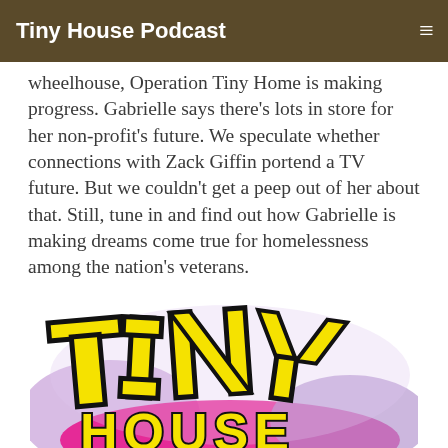Tiny House Podcast
wheelhouse, Operation Tiny Home is making progress. Gabrielle says there's lots in store for her non-profit's future. We speculate whether connections with Zack Giffin portend a TV future. But we couldn't get a peep out of her about that. Still, tune in and find out how Gabrielle is making dreams come true for homelessness among the nation's veterans.
Listen To Episode »
[Figure (logo): Tiny House podcast logo with bold yellow and black block letters spelling TINY HOUSE on a colorful background with purple and pink elements]